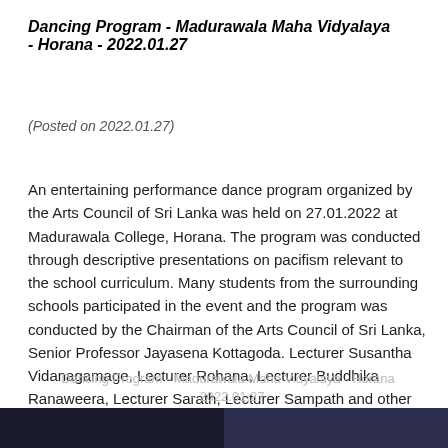Dancing Program - Madurawala Maha Vidyalaya - Horana - 2022.01.27
(Posted on 2022.01.27)
An entertaining performance dance program organized by the Arts Council of Sri Lanka was held on 27.01.2022 at Madurawala College, Horana. The program was conducted through descriptive presentations on pacifism relevant to the school curriculum. Many students from the surrounding schools participated in the event and the program was conducted by the Chairman of the Arts Council of Sri Lanka, Senior Professor Jayasena Kottagoda. Lecturer Susantha Vidanagamage, Lecturer Rohana, Lecturer Buddhika Ranaweera, Lecturer Sarath, Lecturer Sampath and other artists performed.
Dancing Program - Madurawala Maha Vidyalaya - Horana - 2022.01.27
[Figure (photo): Two photographs from the Dancing Program at Madurawala Maha Vidyalaya, Horana, 2022.01.27]